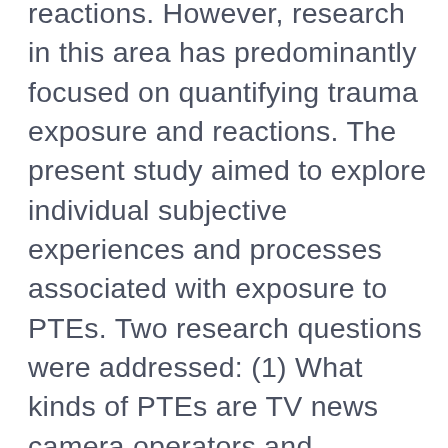reactions. However, research in this area has predominantly focused on quantifying trauma exposure and reactions. The present study aimed to explore individual subjective experiences and processes associated with exposure to PTEs. Two research questions were addressed: (1) What kinds of PTEs are TV news camera operators and reporters exposed to through their work? (2) When covering work-related PTEs, what are the factors that camera operators and reporters suggest result in greater psychological distress? In-depth semi-structured interviews were conducted with 21 Australian TV news camera-operators and reporters. Data analysis was conducted according to a systematic and transparent thematic analysis. Participants' exposure to PTEs were classified into the following themes: accidental and death-related